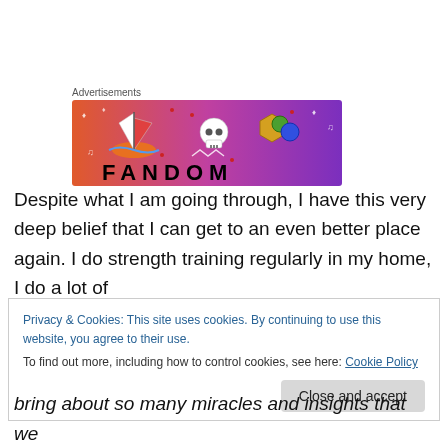Advertisements
[Figure (illustration): Fandom advertisement banner with gradient background (orange to purple), featuring a sailboat, skull, dice, and the word FANDOM in large letters with decorative icons.]
Despite what I am going through, I have this very deep belief that I can get to an even better place again. I do strength training regularly in my home, I do a lot of
Privacy & Cookies: This site uses cookies. By continuing to use this website, you agree to their use.
To find out more, including how to control cookies, see here: Cookie Policy
Close and accept
bring about so many miracles and insights that we